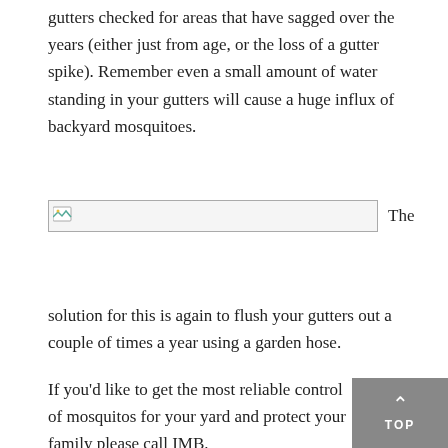gutters checked for areas that have sagged over the years (either just from age, or the loss of a gutter spike). Remember even a small amount of water standing in your gutters will cause a huge influx of backyard mosquitoes.
[Figure (photo): Broken/missing image placeholder with small image icon on left, followed by the word 'The']
solution for this is again to flush your gutters out a couple of times a year using a garden hose.
If you'd like to get the most reliable control of mosquitos for your yard and protect your family please call IMB.